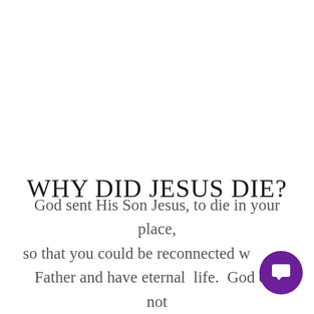WHY DID JESUS DIE?
God sent His Son Jesus, to die in your place, so that you could be reconnected with the Father and have eternal life. God did not